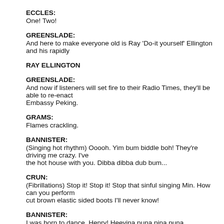ECCLES:
One! Two!
GREENSLADE:
And here to make everyone old is Ray 'Do-it yourself' Ellington and his rapidly
RAY ELLINGTON
GREENSLADE:
And now if listeners will set fire to their Radio Times, they'll be able to re-enact Embassy Peking.
GRAMS:
Flames crackling.
BANNISTER:
(Singing hot rhythm) Ooooh. Yim bum biddle boh! They're driving me crazy. I've the hot house with you. Dibba dibba dub bum...
CRUN:
(Fibrillations) Stop it! Stop it! Stop that sinful singing Min. How can you perform cut brown elastic sided boots I'll never know!
BANNISTER:
I was born to dance, Henry! Heevina puna pina puna.